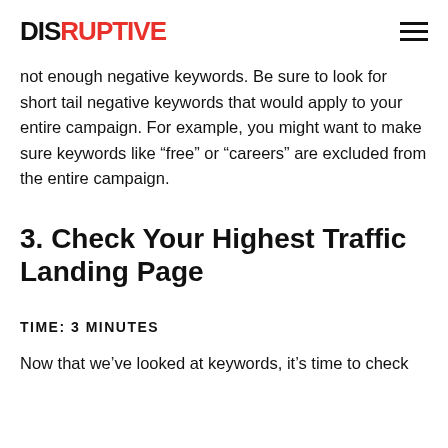DISRUPTIVE
not enough negative keywords. Be sure to look for short tail negative keywords that would apply to your entire campaign. For example, you might want to make sure keywords like “free” or “careers” are excluded from the entire campaign.
3. Check Your Highest Traffic Landing Page
TIME: 3 MINUTES
Now that we’ve looked at keywords, it’s time to check